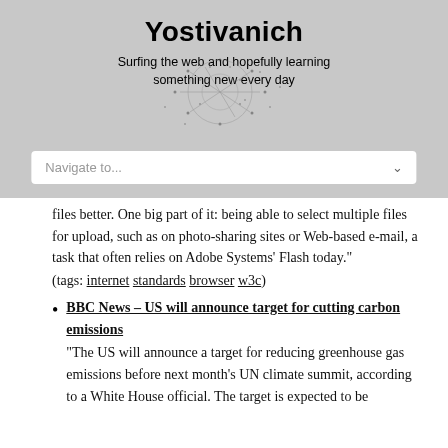Yostivanich
Surfing the web and hopefully learning something new every day
Navigate to...
files better. One big part of it: being able to select multiple files for upload, such as on photo-sharing sites or Web-based e-mail, a task that often relies on Adobe Systems' Flash today."
(tags: internet standards browser w3c)
BBC News – US will announce target for cutting carbon emissions
"The US will announce a target for reducing greenhouse gas emissions before next month's UN climate summit, according to a White House official. The target is expected to be